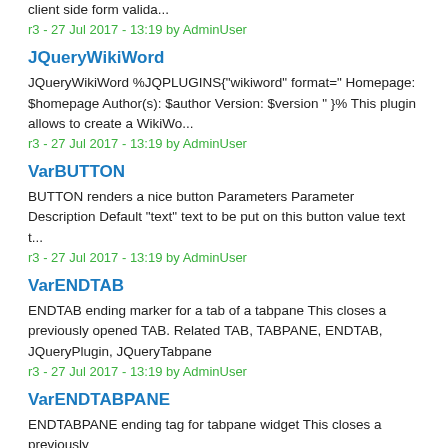client side form valida...
r3 - 27 Jul 2017 - 13:19 by AdminUser
JQueryWikiWord
JQueryWikiWord %JQPLUGINS{"wikiword" format=" Homepage: $homepage Author(s): $author Version: $version " }% This plugin allows to create a WikiWo...
r3 - 27 Jul 2017 - 13:19 by AdminUser
VarBUTTON
BUTTON renders a nice button Parameters Parameter Description Default "text" text to be put on this button value text t...
r3 - 27 Jul 2017 - 13:19 by AdminUser
VarENDTAB
ENDTAB ending marker for a tab of a tabpane This closes a previously opened TAB. Related TAB, TABPANE, ENDTAB, JQueryPlugin, JQueryTabpane
r3 - 27 Jul 2017 - 13:19 by AdminUser
VarENDTABPANE
ENDTABPANE ending tag for tabpane widget This closes a previously